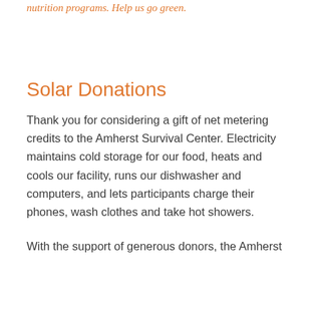nutrition programs. Help us go green.
Solar Donations
Thank you for considering a gift of net metering credits to the Amherst Survival Center. Electricity maintains cold storage for our food, heats and cools our facility, runs our dishwasher and computers, and lets participants charge their phones, wash clothes and take hot showers.
With the support of generous donors, the Amherst